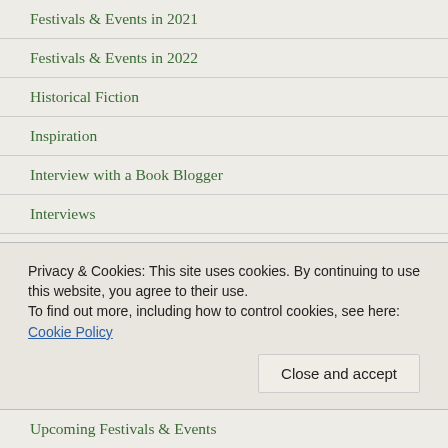Festivals & Events in 2021
Festivals & Events in 2022
Historical Fiction
Inspiration
Interview with a Book Blogger
Interviews
Literary Fiction
Non-fiction
Other Genres
Poetry
Privacy & Cookies: This site uses cookies. By continuing to use this website, you agree to their use.
To find out more, including how to control cookies, see here: Cookie Policy
Upcoming Festivals & Events